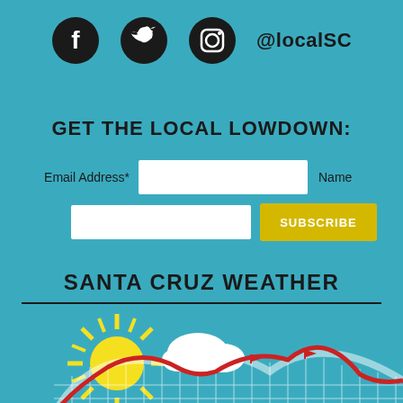[Figure (illustration): Social media icons: Facebook, Twitter, Instagram circles followed by @localSC handle text]
GET THE LOCAL LOWDOWN:
[Figure (infographic): Email newsletter subscription form with Email Address* field, Name field, and a yellow SUBSCRIBE button]
SANTA CRUZ WEATHER
[Figure (illustration): Santa Cruz weather illustration showing a sun with yellow rays, white cloud, and a roller coaster (the Giant Dipper) with red track and white lattice structure on teal background]